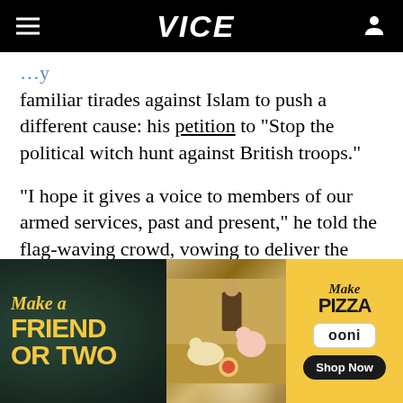VICE
familiar tirades against Islam to push a different cause: his petition to “Stop the political witch hunt against British troops.”
“I hope it gives a voice to members of our armed services, past and present,” he told the flag-waving crowd, vowing to deliver the petition to the prime minister.
[Figure (photo): Advertisement banner for Ooni pizza oven. Left dark section reads 'Make a FRIEND OR TWO' in yellow text on dark background. Center shows a photo of people at a picnic with a dog and a pig. Right yellow section reads 'Make PIZZA' with Ooni logo and 'Shop Now' button.]